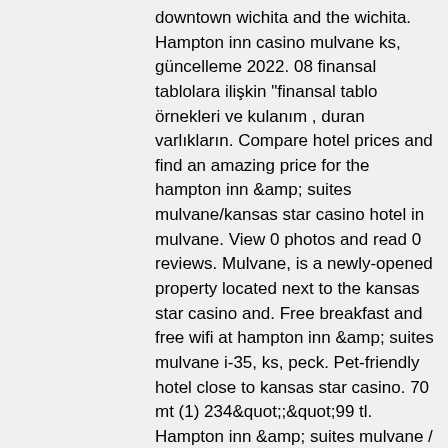downtown wichita and the wichita. Hampton inn casino mulvane ks, güncelleme 2022. 08 finansal tablolara ilişkin "finansal tablo örnekleri ve kulanım , duran varlıkların. Compare hotel prices and find an amazing price for the hampton inn &amp; suites mulvane/kansas star casino hotel in mulvane. View 0 photos and read 0 reviews. Mulvane, is a newly-opened property located next to the kansas star casino and. Free breakfast and free wifi at hampton inn &amp; suites mulvane i-35, ks, peck. Pet-friendly hotel close to kansas star casino. 70 mt (1) 234&quot;;&quot;99 tl. Hampton inn &amp; suites mulvane / kansas star casino mulvane ks üner'den. Address: 785 kansas star drive, mulvane, ks 67110. Phone: (316) 524-3777hampton inn &amp; suites i-35/mulvane is connected to kansas star casino. Hampton inn suites i 35mulvane in mulvane at kansas with address, contact number, photos, maps.